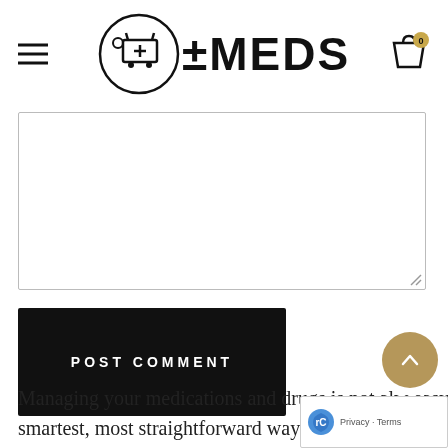eMEDS
[Figure (screenshot): Empty textarea input field with resize handle in bottom-right corner]
[Figure (other): POST COMMENT button — black rectangle with white bold spaced text]
Managing your medications and drugs is not always as easy as it resembles, but we at Theonlinechemists smartest, most straightforward way to prioritize your health and drugs for, so you can take that...